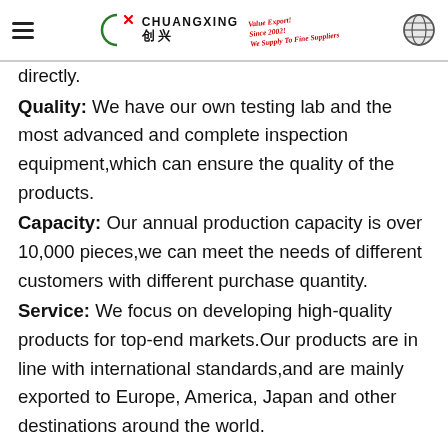Chuangxing 创兴 — Value Export! Since 2002! We Supply To Fine Suppliers
directly.
Quality: We have our own testing lab and the most advanced and complete inspection equipment,which can ensure the quality of the products.
Capacity: Our annual production capacity is over 10,000 pieces,we can meet the needs of different customers with different purchase quantity.
Service: We focus on developing high-quality products for top-end markets.Our products are in line with international standards,and are mainly exported to Europe, America, Japan and other destinations around the world.